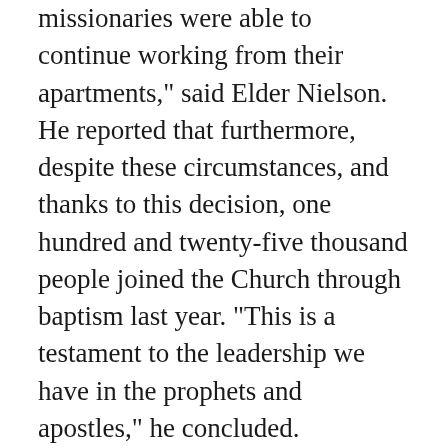missionaries were able to continue working from their apartments," said Elder Nielson. He reported that furthermore, despite these circumstances, and thanks to this decision, one hundred and twenty-five thousand people joined the Church through baptism last year. "This is a testament to the leadership we have in the prophets and apostles," he concluded.
Sister Soares spoke a few words prior to the apostle's message, in which she spoke of the importance of being obedient to